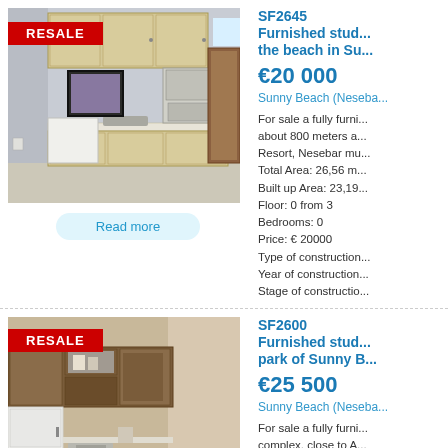[Figure (photo): Kitchen interior photo with RESALE badge, showing light wood cabinets, countertop, stove, sink, small fridge, and framed artwork. First property listing.]
Read more
SF2645 Furnished stud... the beach in Su...
€20 000
Sunny Beach (Neseba...
For sale a fully furni... about 800 meters a... Resort, Nesebar mu... Total Area: 26,56 m... Built up Area: 23,19... Floor: 0 from 3 Bedrooms: 0 Price: € 20000 Type of construction... Year of construction... Stage of constructio...
[Figure (photo): Kitchen/living area interior photo with RESALE badge, second property listing showing dark wood cabinets and refrigerator.]
SF2600 Furnished stud... park of Sunny B...
€25 500
Sunny Beach (Neseba...
For sale a fully furni... complex, close to A... municipality, Burgas... Total Area: 39,39 m... Built up Area: ...